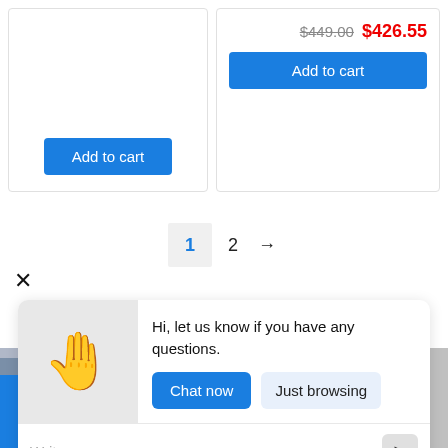[Figure (screenshot): E-commerce product card left: Add to cart button]
[Figure (screenshot): E-commerce product card right: old price $449.00, sale price $426.55, Add to cart button]
$449.00  $426.55
Add to cart
Add to cart
1  2  →
×
Hi, let us know if you have any questions.
Chat now
Just browsing
Write a message...
Chat now